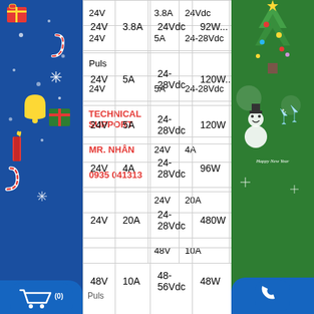| Voltage | Current | Output Voltage | Power |
| --- | --- | --- | --- |
| 24V | 3.8A | 24Vdc | 92W |
| 24V | 5A | 24-28Vdc | 120W |
| 24V | 5A | 24-28Vdc | 120W |
| 24V | 4A | 24-28Vdc | 96W |
| 24V | 20A | 24-28Vdc | 480W |
| 48V | 10A | 48-56Vdc | 480W |
TECHNICAL SUPPORT
MR. NHÂN
0935 041313
SALE SUPPORT
Puls
[Figure (illustration): Blue Christmas banner with holiday decorations on left side]
[Figure (illustration): Green Christmas/New Year banner with holiday decorations on right side]
[Figure (logo): GRT GREENTECH logo on left side]
[Figure (logo): GRT GREENTECH logo on right side]
[Figure (illustration): Shopping cart icon at bottom left with (0)]
[Figure (illustration): Phone/call icon at bottom right]